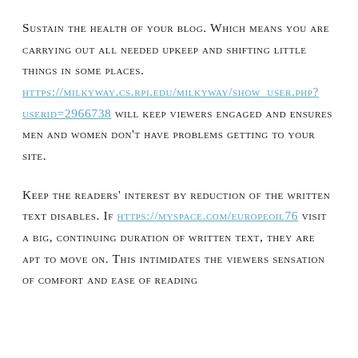Sustain the health of your blog. Which means you are carrying out all needed upkeep and shifting little things in some places. https://milkyway.cs.rpi.edu/milkyway/show_user.php?userid=2966738 will keep viewers engaged and ensures men and women don't have problems getting to your site.
Keep the readers' interest by reduction of the written text disables. If https://myspace.com/europeoil76 visit a big, continuing duration of written text, they are apt to move on. This intimidates the viewers sensation of comfort and ease of reading